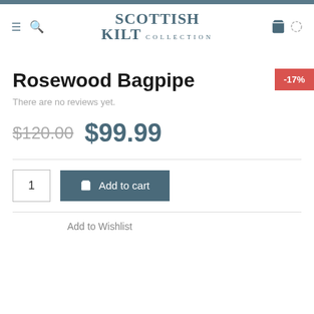Scottish Kilt Collection
[Figure (other): Discount badge showing -17%]
Rosewood Bagpipe
There are no reviews yet.
$120.00  $99.99
1   Add to cart
Add to Wishlist